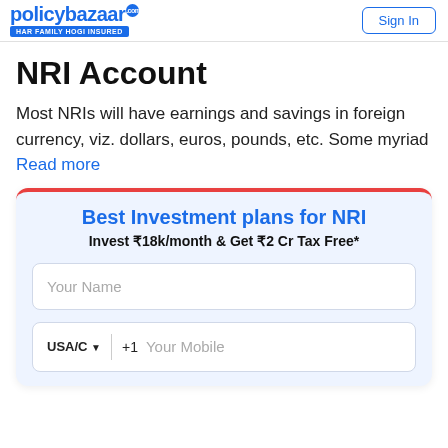policybazaar HAR FAMILY HOGI INSURED | Sign In
NRI Account
Most NRIs will have earnings and savings in foreign currency, viz. dollars, euros, pounds, etc. Some myriad Read more
Best Investment plans for NRI
Invest ₹18k/month & Get ₹2 Cr Tax Free*
Your Name
USA/C ▾  +1  Your Mobile